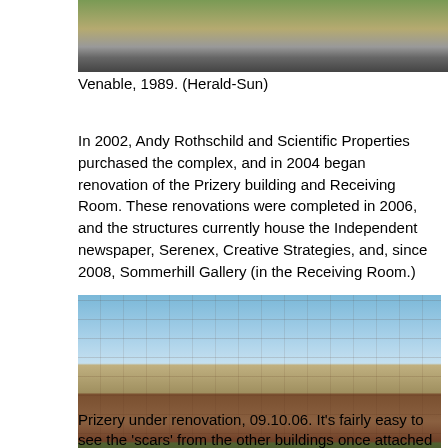[Figure (photo): Top portion of a historical photo of Venable building, 1989, showing road and trees]
Venable, 1989. (Herald-Sun)
In 2002, Andy Rothschild and Scientific Properties purchased the complex, and in 2004 began renovation of the Prizery building and Receiving Room. These renovations were completed in 2006, and the structures currently house the Independent newspaper, Serenex, Creative Strategies, and, since 2008, Sommerhill Gallery (in the Receiving Room.)
[Figure (photo): Prizery building under renovation on 09.10.06, a three-story brick industrial building with green dumpster in front and trees to the right]
Prizery under renovation, 09.10.06. It's fairly easy to see the 'scars' from the other buildings once attached to the north and